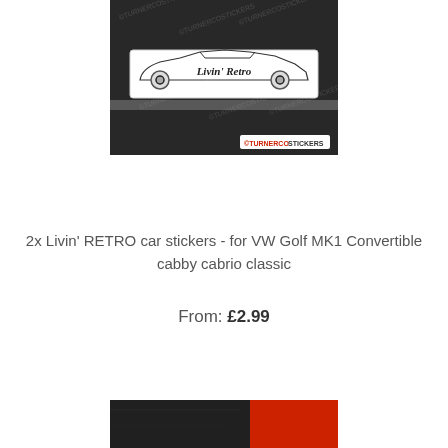[Figure (photo): Product photo showing a white VW Golf MK1 Convertible car sticker/decal reading 'Livin' Retro' on a dark car window/bodywork background. Watermark reads TURNERCO STICKERS.]
2x Livin' RETRO car stickers - for VW Golf MK1 Convertible cabby cabrio classic
From: £2.99
[Figure (photo): Partial product photo showing a dark background with red element visible, partially cropped at bottom of page.]